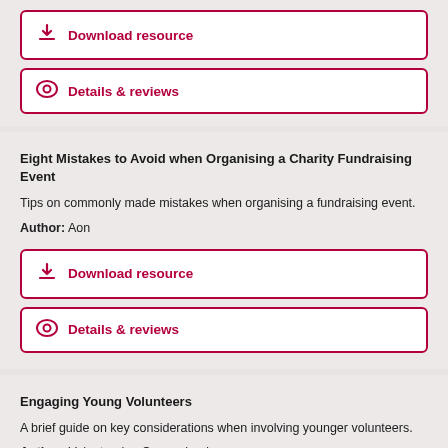Download resource
Details & reviews
Eight Mistakes to Avoid when Organising a Charity Fundraising Event
Tips on commonly made mistakes when organising a fundraising event.
Author: Aon
Download resource
Details & reviews
Engaging Young Volunteers
A brief guide on key considerations when involving younger volunteers.
Author: Volunteering Queensland
Download resource